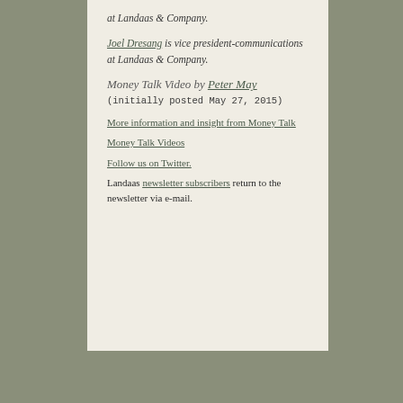at Landaas & Company.
Joel Dresang is vice president-communications at Landaas & Company.
Money Talk Video by Peter May
(initially posted May 27, 2015)
More information and insight from Money Talk
Money Talk Videos
Follow us on Twitter.
Landaas newsletter subscribers return to the newsletter via e-mail.